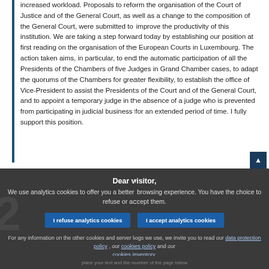increased workload. Proposals to reform the organisation of the Court of Justice and of the General Court, as well as a change to the composition of the General Court, were submitted to improve the productivity of this institution. We are taking a step forward today by establishing our position at first reading on the organisation of the European Courts in Luxembourg. The action taken aims, in particular, to end the automatic participation of all the Presidents of the Chambers of five Judges in Grand Chamber cases, to adapt the quorums of the Chambers for greater flexibility, to establish the office of Vice-President to assist the Presidents of the Court and of the General Court, and to appoint a temporary judge in the absence of a judge who is prevented from participating in judicial business for an extended period of time. I fully support this position.
Dear visitor, We use analytics cookies to offer you a better browsing experience. You have the choice to refuse or accept them.
I refuse analytics cookies
I accept analytics cookies
For any information on the other cookies and server logs we use, we invite you to read our data protection policy , our cookies policy and our cookies inventory.